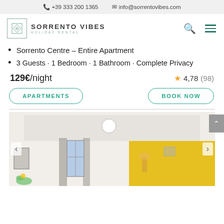+39 333 200 1365   info@sorrentovibes.com
[Figure (logo): Sorrento Vibes Holiday Rental logo with geometric diamond icon]
Sorrento Centre – Entire Apartment
3 Guests · 1 Bedroom · 1 Bathroom · Complete Privacy
129€/night   ★ 4,78 (98)
APARTMENTS   BOOK NOW
[Figure (photo): Interior photo of apartment showing white ceiling with light fixture, grey curtains, window, and yellow accent wall on the right side]